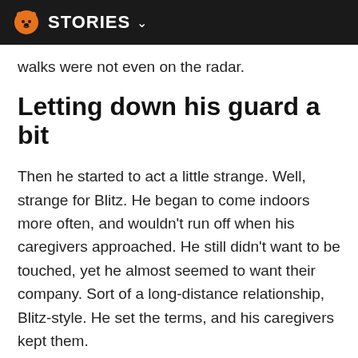STORIES
walks were not even on the radar.
Letting down his guard a bit
Then he started to act a little strange. Well, strange for Blitz. He began to come indoors more often, and wouldn't run off when his caregivers approached. He still didn't want to be touched, yet he almost seemed to want their company. Sort of a long-distance relationship, Blitz-style. He set the terms, and his caregivers kept them.
If that wasn't weird enough, one day Blitz decided to try something even crazier. He jumped up on his doghouse and stared at